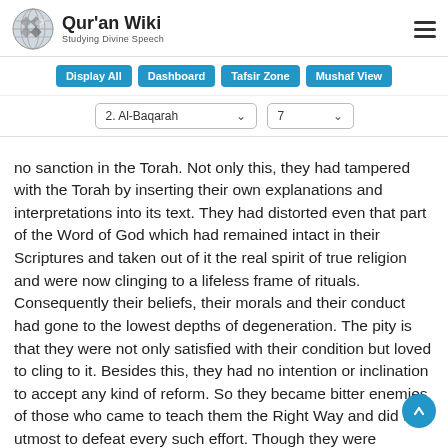Qur'an Wiki — Studying Divine Speech
[Figure (logo): Quran Wiki globe logo with text 'Qur'an Wiki' and subtitle 'Studying Divine Speech']
Display All
Dashboard
Tafsir Zone
Mushaf View
2. Al-Baqarah / 7
no sanction in the Torah. Not only this, they had tampered with the Torah by inserting their own explanations and interpretations into its text. They had distorted even that part of the Word of God which had remained intact in their Scriptures and taken out of it the real spirit of true religion and were now clinging to a lifeless frame of rituals. Consequently their beliefs, their morals and their conduct had gone to the lowest depths of degeneration. The pity is that they were not only satisfied with their condition but loved to cling to it. Besides this, they had no intention or inclination to accept any kind of reform. So they became bitter enemies of those who came to teach them the Right Way and did their utmost to defeat every such effort. Though they were originally Muslims, they had swerved